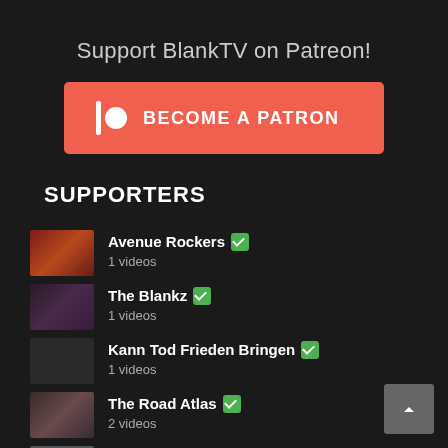Support BlankTV on Patreon!
[Figure (illustration): Orange/red Patreon 'Become a Patron' button with Patreon logo icon (vertical bar and circle) on left and bold white text 'BECOME A PATRON']
SUPPORTERS
Avenue Rockers ✓
1 videos
The Blankz ✓
1 videos
Kann Tod Frieden Bringen ✓
1 videos
The Road Atlas ✓
2 videos
Jonestown ✓